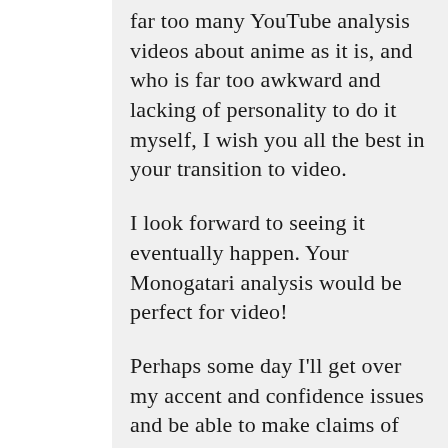far too many YouTube analysis videos about anime as it is, and who is far too awkward and lacking of personality to do it myself, I wish you all the best in your transition to video.
I look forward to seeing it eventually happen. Your Monogatari analysis would be perfect for video!
Perhaps some day I'll get over my accent and confidence issues and be able to make claims of